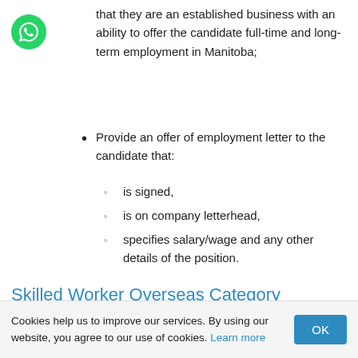[Figure (logo): Green circular WhatsApp-style floating action button with a chat icon]
that they are an established business with an ability to offer the candidate full-time and long-term employment in Manitoba;
Provide an offer of employment letter to the candidate that:
is signed,
is on company letterhead,
specifies salary/wage and any other details of the position.
Skilled Worker Overseas Category
The Manitoba Skilled Workers Overseas category is for qualified skilled workers who may be outside of Canada but who can demonstrate a strong connection to the province. This program
Cookies help us to improve our services. By using our website, you agree to our use of cookies. Learn more